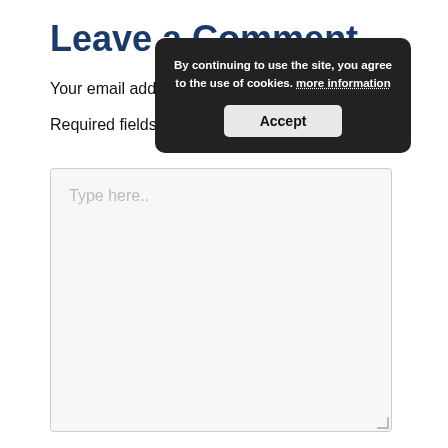Leave a Comment
Your email address will not be published.
Required fields are
[Figure (screenshot): Cookie consent popup overlay with dark background, text: 'By continuing to use the site, you agree to the use of cookies. more information', and an Accept button.]
Type here..